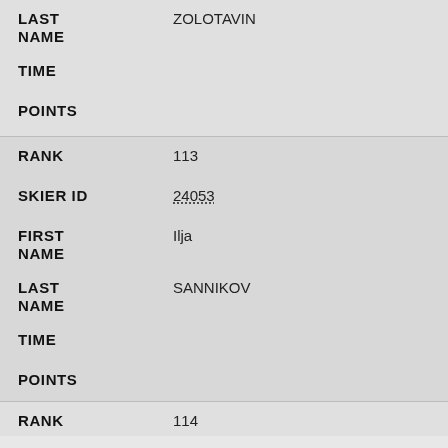| Field | Value |
| --- | --- |
| LAST NAME | ZOLOTAVIN |
| TIME |  |
| POINTS |  |
| RANK | 113 |
| SKIER ID | 24053 |
| FIRST NAME | Ilja |
| LAST NAME | SANNIKOV |
| TIME |  |
| POINTS |  |
| RANK | 114 |